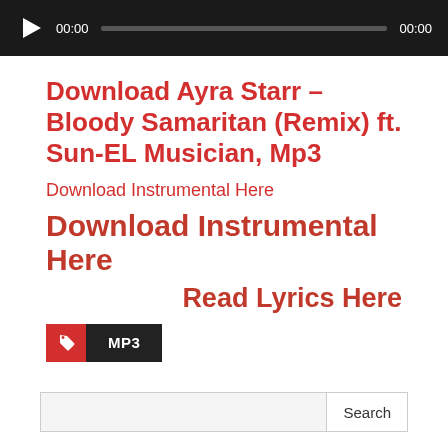[Figure (other): Audio player with play button, time display 00:00, progress bar, and end time 00:00 on dark background]
Download Ayra Starr – Bloody Samaritan (Remix) ft. Sun-EL Musician, Mp3
Download Instrumental Here
Download Instrumental Here
Read Lyrics Here
MP3
Search